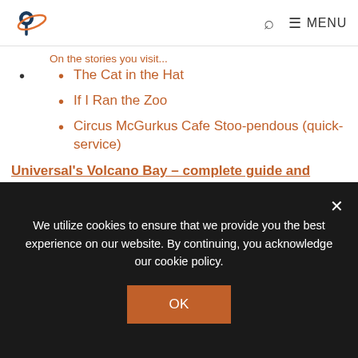Logo | Search | MENU
The Cat in the Hat
If I Ran the Zoo
Circus McGurkus Cafe Stoo-pendous (quick-service)
Green Eggs and Ham Cafe (quick-service)
Moose Juice, Goose Juice (quick-service)
Hop on Pop Ice Cream Shop (quick-service)
Park-wide Entertainment
Marvel Character Dinner
Universal's Volcano Bay – complete guide and
We utilize cookies to ensure that we provide you the best experience on our website. By continuing, you acknowledge our cookie policy.